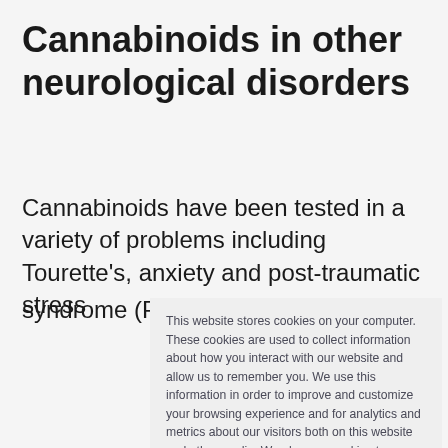Cannabinoids in other neurological disorders
Cannabinoids have been tested in a variety of problems including Tourette's, anxiety and post-traumatic stress syndrome (PTSD), though the evidence of efficacy so far
This website stores cookies on your computer. These cookies are used to collect information about how you interact with our website and allow us to remember you. We use this information in order to improve and customize your browsing experience and for analytics and metrics about our visitors both on this website and other media. We also use cookies to ensure we show you advertising that is relevant to you. To find out more about the cookies we use, see our Privacy Policy.

If you decline, your information won't be tracked when you visit this website. A single cookie will be used in your browser to remember your preference not to be tracked.